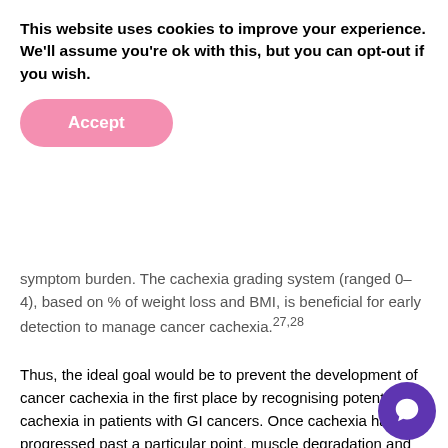This website uses cookies to improve your experience. We'll assume you're ok with this, but you can opt-out if you wish.
Accept
symptom burden. The cachexia grading system (ranged 0–4), based on % of weight loss and BMI, is beneficial for early detection to manage cancer cachexia.27,28
Thus, the ideal goal would be to prevent the development of cancer cachexia in the first place by recognising potential cachexia in patients with GI cancers. Once cachexia has progressed past a particular point, muscle degradation and loss of physical functioning are irreversible and impact the success of therapy and outcome. Patients with GI cancers are at higher risk of death if they had developed cachexia or refractory cachexia, lower grades in phase angle, decreased handgrip strength, and an increased CRP.29 Together with weight loss, these measures can be utilised to evaluate the